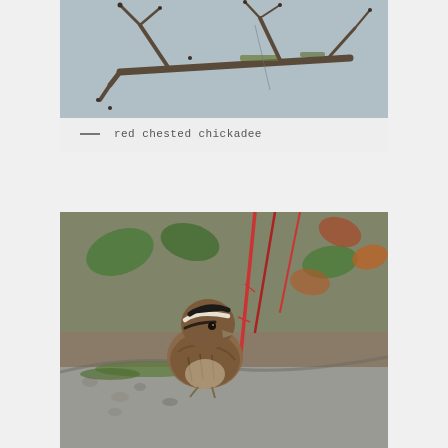[Figure (photo): Close-up photo of bare winter tree branches with mossy bark and small buds against a gray sky background]
red chested chickadee
[Figure (photo): Close-up photo of a small sparrow bird with striped head markings perched on a mossy rock, surrounded by red stems and green foliage]